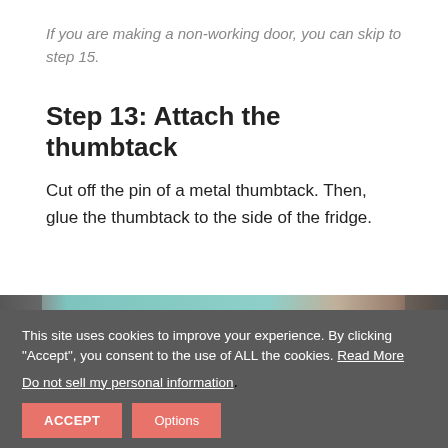If you are making a non-working door, you can skip to step 15.
Step 13: Attach the thumbtack
Cut off the pin of a metal thumbtack. Then, glue the thumbtack to the side of the fridge.
[Figure (photo): Close-up photo showing a green/mint colored object (fridge) and a finger, partially visible at top of page]
This site uses cookies to improve your experience. By clicking "Accept", you consent to the use of ALL the cookies. Read More
Do not sell my personal information.